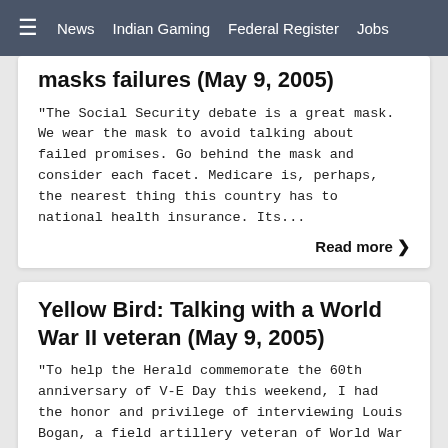News  Indian Gaming  Federal Register  Jobs
masks failures (May 9, 2005)
"The Social Security debate is a great mask. We wear the mask to avoid talking about failed promises. Go behind the mask and consider each facet. Medicare is, perhaps, the nearest thing this country has to national health insurance. Its...
Read more ❯
Yellow Bird: Talking with a World War II veteran (May 9, 2005)
"To help the Herald commemorate the 60th anniversary of V-E Day this weekend, I had the honor and privilege of interviewing Louis Bogan, a field artillery veteran of World War II, for the Prairie Voices feature in Sunday's Herald